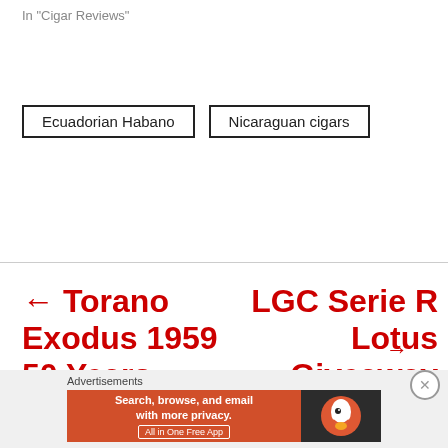In "Cigar Reviews"
Ecuadorian Habano
Nicaraguan cigars
← Torano Exodus 1959 50 Years
LGC Serie R Lotus Giveaway →
Advertisements
[Figure (other): DuckDuckGo advertisement banner: Search, browse, and email with more privacy. All in One Free App]